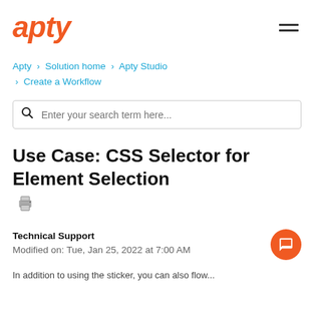apty
Apty › Solution home › Apty Studio › Create a Workflow
Enter your search term here...
Use Case: CSS Selector for Element Selection
Technical Support
Modified on: Tue, Jan 25, 2022 at 7:00 AM
In addition to using the sticker, you can also flow...